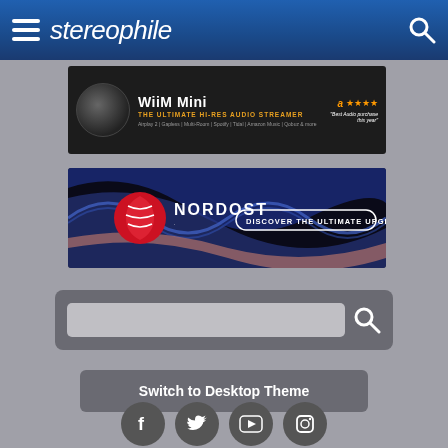stereophile
[Figure (screenshot): WiiM Mini advertisement: 'WiiM Mini — THE ULTIMATE HI-RES AUDIO STREAMER' with Amazon 4-star rating. Features: Airplay 2 | Gapless | Multi-Room | Spotify | Tidal | Amazon Music | Qobuz & more]
[Figure (screenshot): Nordost advertisement: 'NORDOST — DISCOVER THE ULTIMATE UPGRADE >']
[Figure (screenshot): Search bar with input field and search icon]
Switch to Desktop Theme
[Figure (screenshot): Social media icons: Facebook, Twitter, YouTube, Instagram]